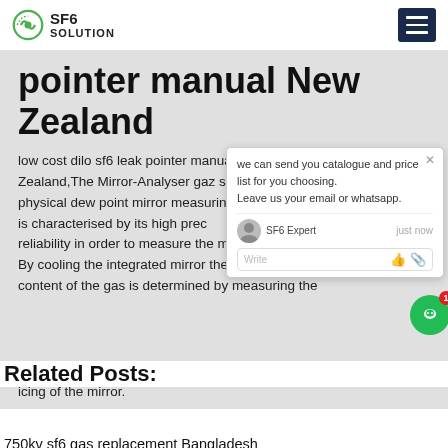SF6 SOLUTION
pointer manual New Zealand
low cost dilo sf6 leak pointer manual New Zealand,The Mirror-Analyser gaz sf6 physical dew point mirror measuring is characterised by its high precision and reliability in order to measure the moisture content. By cooling the integrated mirror the moisture content of the gas is determined by measuring the temperature depending on the condensation or icing of the mirror.
Related Posts:
750kv sf6 gas replacement Bangladesh
Get Price
40 5kv abb sf6 Japan
best sulphur hexafluoride is a Hong Kong